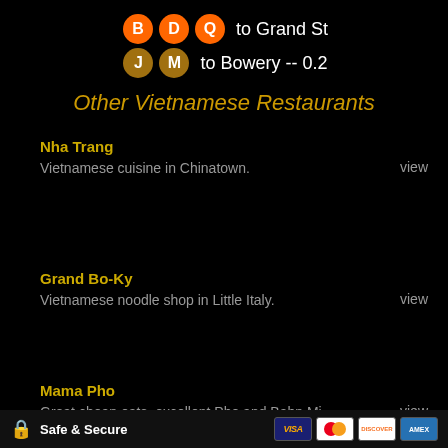[Figure (infographic): NYC subway line icons: B, D, Q (orange circles) to Grand St; J, M (dark gold circles) to Bowery -- 0.2]
Other Vietnamese Restaurants
Nha Trang - Vietnamese cuisine in Chinatown. view
Grand Bo-Ky - Vietnamese noodle shop in Little Italy. view
Mama Pho - Great cheap eats. excellent Pho and Bahn Mi. view
Safe & Secure [Visa] [Mastercard] [Discover] [Amex]